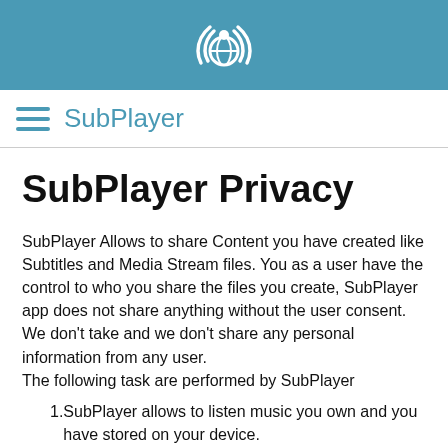[Figure (logo): SubPlayer app logo icon - circular signal/globe icon in white on teal background]
SubPlayer
SubPlayer Privacy
SubPlayer Allows to share Content you have created like Subtitles and Media Stream files. You as a user have the control to who you share the files you create, SubPlayer app does not share anything without the user consent. We don't take and we don't share any personal information from any user.
The following task are performed by SubPlayer
SubPlayer allows to listen music you own and you have stored on your device.
SubPlayer helps you to create subtitles for songs. You can create subtitles for media files including music, movies or content you own, SubPlayer Creates this files in a formatted text. Subtitles files can be saved in